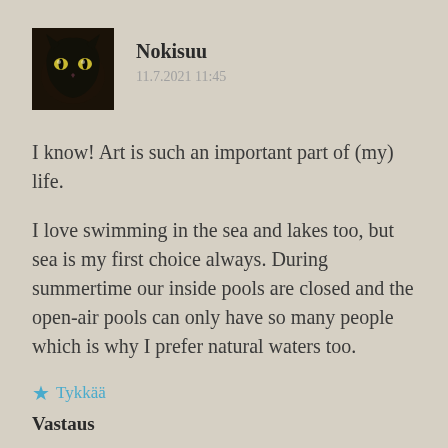[Figure (photo): Profile photo of a black cat with glowing eyes]
Nokisuu
11.7.2021 11:45
I know! Art is such an important part of (my) life.
I love swimming in the sea and lakes too, but sea is my first choice always. During summertime our inside pools are closed and the open-air pools can only have so many people which is why I prefer natural waters too.
★ Tykkää
Vastaus